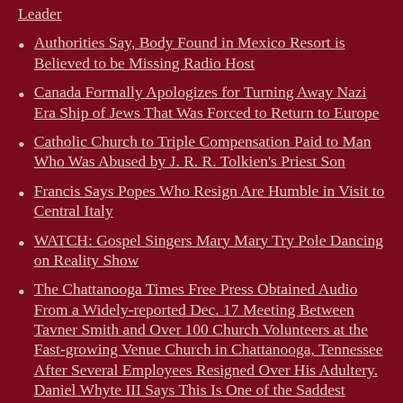Leader
Authorities Say, Body Found in Mexico Resort is Believed to be Missing Radio Host
Canada Formally Apologizes for Turning Away Nazi Era Ship of Jews That Was Forced to Return to Europe
Catholic Church to Triple Compensation Paid to Man Who Was Abused by J. R. R. Tolkien's Priest Son
Francis Says Popes Who Resign Are Humble in Visit to Central Italy
WATCH: Gospel Singers Mary Mary Try Pole Dancing on Reality Show
The Chattanooga Times Free Press Obtained Audio From a Widely-reported Dec. 17 Meeting Between Tavner Smith and Over 100 Church Volunteers at the Fast-growing Venue Church in Chattanooga, Tennessee After Several Employees Resigned Over His Adultery. Daniel Whyte III Says This Is One of the Saddest Audios Between a Pastor and Church Members I Have Ever Heard, and What Is Sadder Is This Scenario